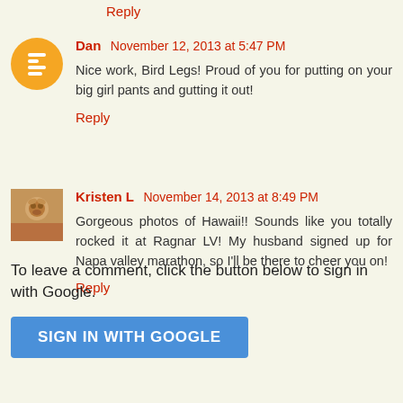Reply
Dan November 12, 2013 at 5:47 PM
Nice work, Bird Legs! Proud of you for putting on your big girl pants and gutting it out!
Reply
Kristen L November 14, 2013 at 8:49 PM
Gorgeous photos of Hawaii!! Sounds like you totally rocked it at Ragnar LV! My husband signed up for Napa valley marathon, so I'll be there to cheer you on!
Reply
To leave a comment, click the button below to sign in with Google.
SIGN IN WITH GOOGLE